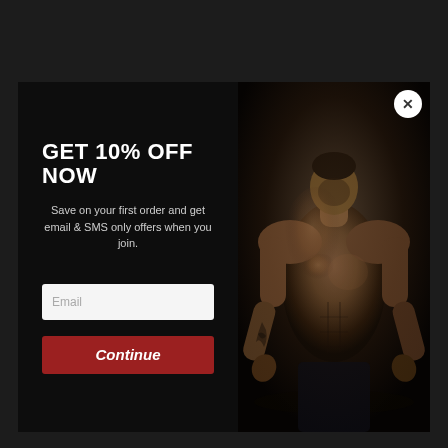GET 10% OFF NOW
Save on your first order and get email & SMS only offers when you join.
[Figure (photo): Muscular shirtless man with tattoos posed against dark background, dramatic lighting]
Email
Continue